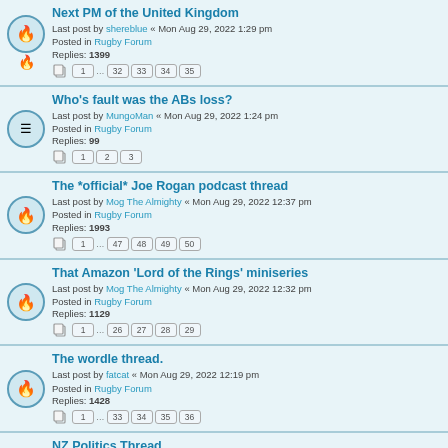Next PM of the United Kingdom
Last post by shereblue « Mon Aug 29, 2022 1:29 pm
Posted in Rugby Forum
Replies: 1399
Pages: 1 ... 32 33 34 35
Who's fault was the ABs loss?
Last post by MungoMan « Mon Aug 29, 2022 1:24 pm
Posted in Rugby Forum
Replies: 99
Pages: 1 2 3
The *official* Joe Rogan podcast thread
Last post by Mog The Almighty « Mon Aug 29, 2022 12:37 pm
Posted in Rugby Forum
Replies: 1993
Pages: 1 ... 47 48 49 50
That Amazon 'Lord of the Rings' miniseries
Last post by Mog The Almighty « Mon Aug 29, 2022 12:32 pm
Posted in Rugby Forum
Replies: 1129
Pages: 1 ... 26 27 28 29
The wordle thread.
Last post by fatcat « Mon Aug 29, 2022 12:19 pm
Posted in Rugby Forum
Replies: 1428
Pages: 1 ... 33 34 35 36
NZ Politics Thread
Last post by Brabus « Mon Aug 29, 2022 12:17 pm
Posted in Rugby Forum
Replies: 37960
Pages: 1 ... 947 948 949 950
Post a purchase pic, get a Globus anecdote.